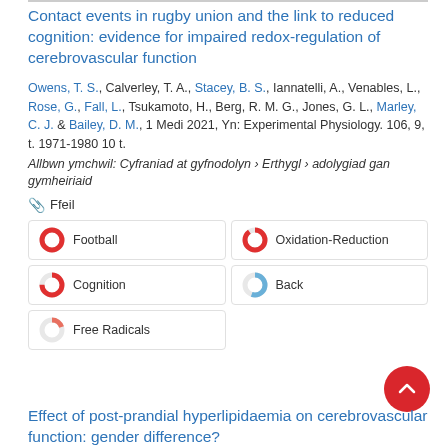Contact events in rugby union and the link to reduced cognition: evidence for impaired redox-regulation of cerebrovascular function
Owens, T. S., Calverley, T. A., Stacey, B. S., Iannatelli, A., Venables, L., Rose, G., Fall, L., Tsukamoto, H., Berg, R. M. G., Jones, G. L., Marley, C. J. & Bailey, D. M., 1 Medi 2021, Yn: Experimental Physiology. 106, 9, t. 1971-1980 10 t.
Allbwn ymchwil: Cyfraniad at gyfnodolyn › Erthygl › adolygiad gan gymheiriaid
📎 Ffeil
Football
Oxidation-Reduction
Cognition
Back
Free Radicals
Effect of post-prandial hyperlipidaemia on cerebrovascular function: gender difference?